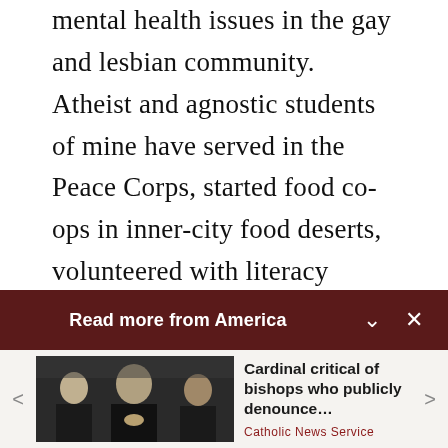mental health issues in the gay and lesbian community. Atheist and agnostic students of mine have served in the Peace Corps, started food co-ops in inner-city food deserts, volunteered with literacy organizations, taught inmates to read at San Quentin and tirelessly worked to correct the notion that millennials are interested only in cellphones. No, most of them do not belong to an organized religion. But
Read more from America
[Figure (screenshot): Photo of three Catholic bishops/cardinals in black clerical attire seated at a table, appearing at a press conference or formal meeting.]
Cardinal critical of bishops who publicly denounce…
Catholic News Service